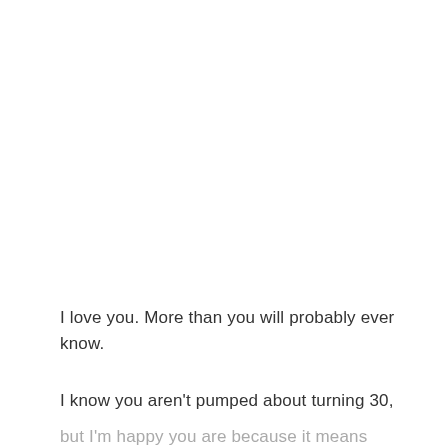I love you. More than you will probably ever know.
I know you aren't pumped about turning 30, but I'm happy you are because it means God isn't done with you yet. Because I'm